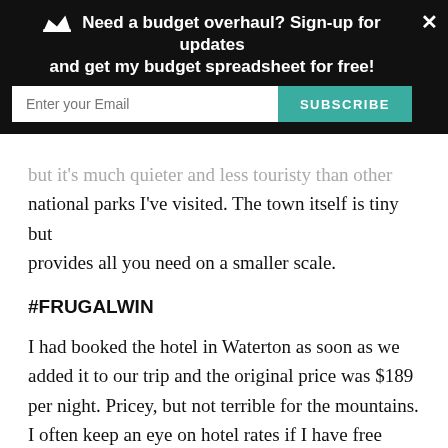[Figure (screenshot): Email subscription banner overlay with black background, crown icon, text 'Need a budget overhaul? Sign-up for updates and get my budget spreadsheet for free!', email input field, and teal SUBSCRIBE button.]
but it's much quieter and less touristy than other national parks I've visited. The town itself is tiny but provides all you need on a smaller scale.
#FRUGALWIN
I had booked the hotel in Waterton as soon as we added it to our trip and the original price was $189 per night. Pricey, but not terrible for the mountains. I often keep an eye on hotel rates if I have free cancellation because they can fluctuate so much. And luckily I did that for this trip. Just a few days before we left, I checked our room rate, and it had